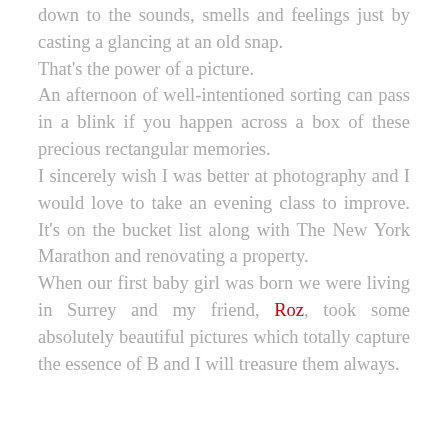down to the sounds, smells and feelings just by casting a glancing at an old snap. That's the power of a picture. An afternoon of well-intentioned sorting can pass in a blink if you happen across a box of these precious rectangular memories. I sincerely wish I was better at photography and I would love to take an evening class to improve. It's on the bucket list along with The New York Marathon and renovating a property. When our first baby girl was born we were living in Surrey and my friend, Roz, took some absolutely beautiful pictures which totally capture the essence of B and I will treasure them always.